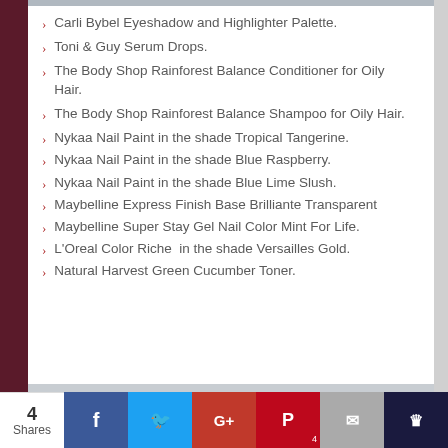Carli Bybel Eyeshadow and Highlighter Palette.
Toni & Guy Serum Drops.
The Body Shop Rainforest Balance Conditioner for Oily Hair.
The Body Shop Rainforest Balance Shampoo for Oily Hair.
Nykaa Nail Paint in the shade Tropical Tangerine.
Nykaa Nail Paint in the shade Blue Raspberry.
Nykaa Nail Paint in the shade Blue Lime Slush.
Maybelline Express Finish Base Brilliante Transparent
Maybelline Super Stay Gel Nail Color Mint For Life.
L'Oreal Color Riche  in the shade Versailles Gold.
Natural Harvest Green Cucumber Toner.